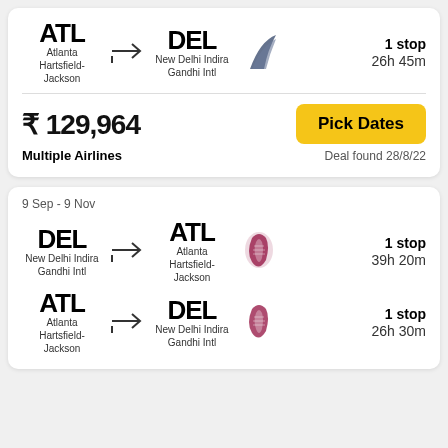ATL → DEL
Atlanta Hartsfield-Jackson
New Delhi Indira Gandhi Intl
1 stop
26h 45m
₹ 129,964
Multiple Airlines
Deal found 28/8/22
9 Sep - 9 Nov
DEL → ATL
New Delhi Indira Gandhi Intl
Atlanta Hartsfield-Jackson
1 stop
39h 20m
ATL → DEL
Atlanta Hartsfield-Jackson
New Delhi Indira Gandhi Intl
1 stop
26h 30m